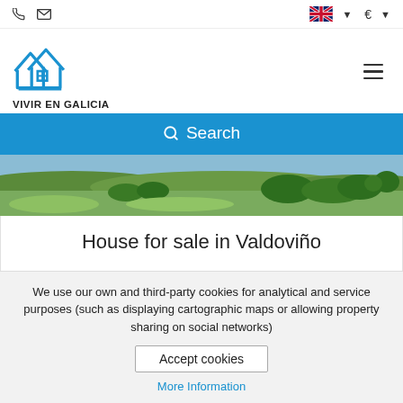Vivir en Galicia - phone, email, language selector, currency selector, hamburger menu
[Figure (logo): Vivir en Galicia house logo in blue with text VIVIR EN GALICIA below]
Search
[Figure (photo): Landscape photo of green fields and trees in Galicia]
House for sale in Valdoviño
459.000 €
We use our own and third-party cookies for analytical and service purposes (such as displaying cartographic maps or allowing property sharing on social networks)
Accept cookies
More Information